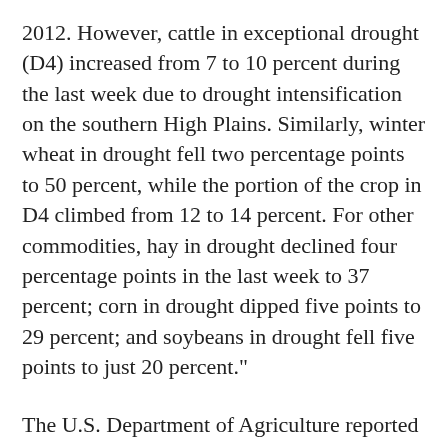2012. However, cattle in exceptional drought (D4) increased from 7 to 10 percent during the last week due to drought intensification on the southern High Plains. Similarly, winter wheat in drought fell two percentage points to 50 percent, while the portion of the crop in D4 climbed from 12 to 14 percent. For other commodities, hay in drought declined four percentage points in the last week to 37 percent; corn in drought dipped five points to 29 percent; and soybeans in drought fell five points to just 20 percent."
The U.S. Department of Agriculture reported May 19 that at least 40 percent of rangeland and pastures were rated very poor to poor in seven of the eleven western states, Rippey said in narrative accompanying the map. New Mexico topped the list, with 98 percent of its rangeland and pastures rated very poor to poor, followed by Nevada (69 percent), Arizona (63 percent), Colorado (48 percent), Montana (47 percent), Wyoming